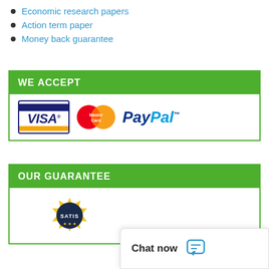Economic research papers
Action term paper
Money back guarantee
WE ACCEPT
[Figure (logo): Payment logos: VISA, MasterCard, PayPal]
OUR GUARANTEE
[Figure (illustration): Partial satisfaction guarantee badge with yellow starburst, dark circular badge with 'SATIS' text visible at bottom of page]
Chat now